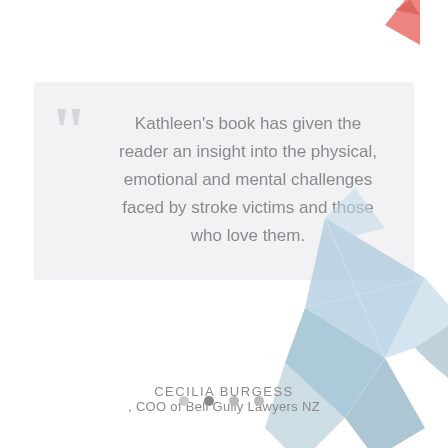[Figure (illustration): Decorative coral/red origami shape in top right corner]
Kathleen's book has given the reader an insight into the physical, emotional and mental challenges faced by stroke victims and those who love them.
CECILIA BURGESS , COO of Bell Gully Lawyers NZ
[Figure (illustration): Decorative blue/gray origami bird shape in bottom right corner]